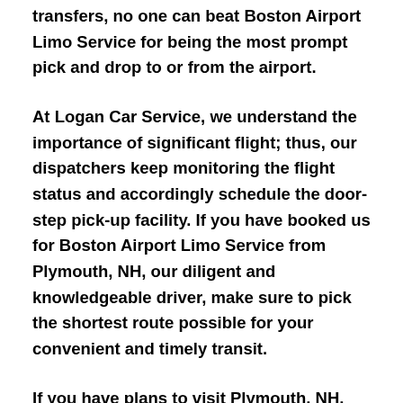transfers, no one can beat Boston Airport Limo Service for being the most prompt pick and drop to or from the airport.
At Logan Car Service, we understand the importance of significant flight; thus, our dispatchers keep monitoring the flight status and accordingly schedule the door-step pick-up facility. If you have booked us for Boston Airport Limo Service from Plymouth, NH, our diligent and knowledgeable driver, make sure to pick the shortest route possible for your convenient and timely transit.
If you have plans to visit Plymouth, NH, Logan Limo suggests you must have a pre planned car booking